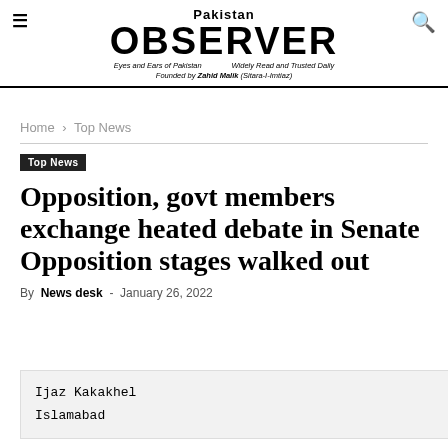Pakistan OBSERVER — Eyes and Ears of Pakistan | Widely Read and Trusted Daily | Founded by Zahid Malik (Sitara-I-Imtiaz)
Home › Top News
Top News
Opposition, govt members exchange heated debate in Senate Opposition stages walked out
By News desk - January 26, 2022
Ijaz Kakakhel
Islamabad